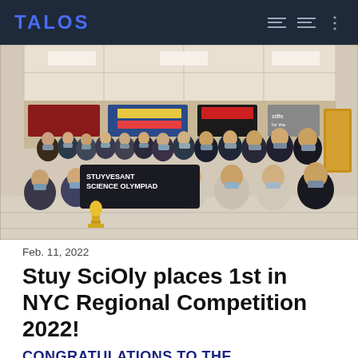TALOS
[Figure (photo): Group photo of Stuyvesant Science Olympiad team wearing masks, holding a 'Stuyvesant Science Olympiad' banner and a trophy, posed in a school hallway with banners on the wall behind them.]
Feb. 11, 2022
Stuy SciOly places 1st in NYC Regional Competition 2022!
CONGRATULATIONS TO THE STUYVESANT